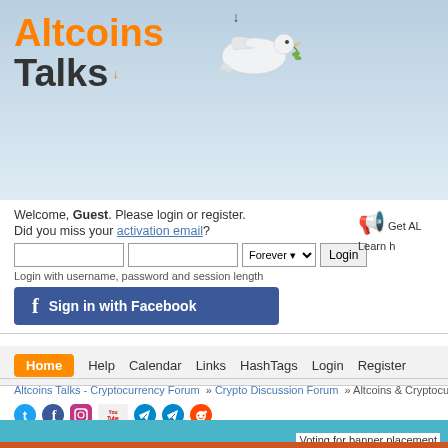[Figure (logo): Altcoins Talks logo with orange and dark text and a dove illustration]
Welcome, Guest. Please login or register.
Did you miss your activation email?
Login with username, password and session length
Sign in with Facebook
Get AL
Learn h
Home  Help  Calendar  Links  HashTags  Login  Register
Altcoins Talks - Cryptocurrency Forum » Crypto Discussion Forum » Altcoins & Cryptocu...
[Figure (infographic): Social media icons: Twitter, Facebook, Instagram, YouTube, Telegram (x2), Reddit]
Banner Placement
Voting for banner placement